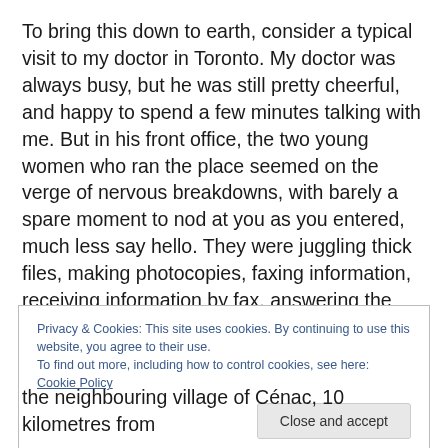To bring this down to earth, consider a typical visit to my doctor in Toronto. My doctor was always busy, but he was still pretty cheerful, and happy to spend a few minutes talking with me. But in his front office, the two young women who ran the place seemed on the verge of nervous breakdowns, with barely a spare moment to nod at you as you entered, much less say hello. They were juggling thick files, making photocopies, faxing information, receiving information by fax, answering the phone, and generally looking frantic.
Privacy & Cookies: This site uses cookies. By continuing to use this website, you agree to their use.
To find out more, including how to control cookies, see here: Cookie Policy
the neighbouring village of Cénac, 10 kilometres from